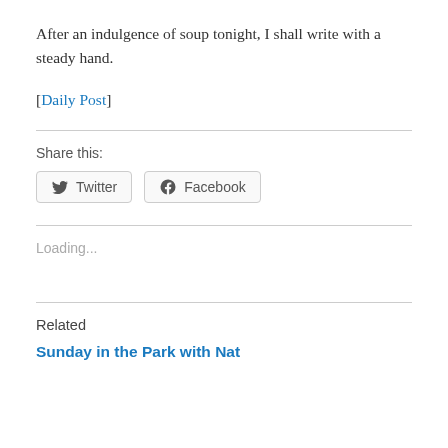After an indulgence of soup tonight, I shall write with a steady hand.
[Daily Post]
Share this:
Twitter  Facebook
Loading...
Related
Sunday in the Park with Nat